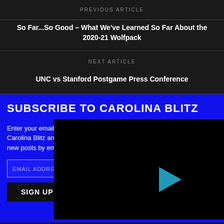PREVIOUS ARTICLE
So Far...So Good – What We've Learned So Far About the 2020-21 Wolfpack
NEXT ARTICLE
UNC vs Stanford Postgame Press Conference
SUBSCRIBE TO CAROLINA BLITZ
Enter your email address to subscribe to Carolina Blitz and receive notifications of new posts by email.
EMAIL ADDRESS
SIGN UP